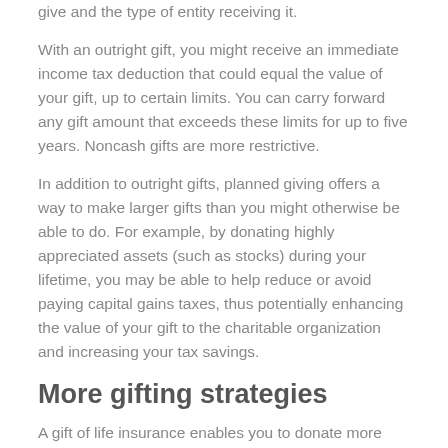give and the type of entity receiving it.
With an outright gift, you might receive an immediate income tax deduction that could equal the value of your gift, up to certain limits. You can carry forward any gift amount that exceeds these limits for up to five years. Noncash gifts are more restrictive.
In addition to outright gifts, planned giving offers a way to make larger gifts than you might otherwise be able to do. For example, by donating highly appreciated assets (such as stocks) during your lifetime, you may be able to help reduce or avoid paying capital gains taxes, thus potentially enhancing the value of your gift to the charitable organization and increasing your tax savings.
More gifting strategies
A gift of life insurance enables you to donate more